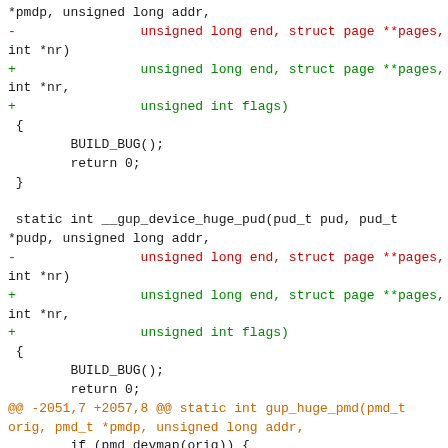[Figure (other): Source code diff showing changes to C functions __gup_device_huge_pmd and __gup_device_huge_pud, adding unsigned int flags parameter and modifying gup_huge_pmd function calls]